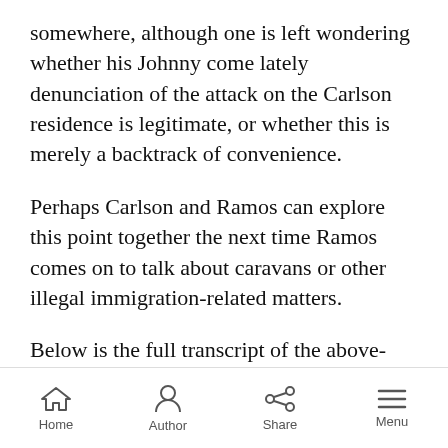somewhere, although one is left wondering whether his Johnny come lately denunciation of the attack on the Carlson residence is legitimate, or whether this is merely a backtrack of convenience.
Perhaps Carlson and Ramos can explore this point together the next time Ramos comes on to talk about caravans or other illegal immigration-related matters.
Below is the full transcript of the above-referenced El Intermedio interview:
GUILLERMO FESSER, U.S. CORRESPONDENT, EL INTERMEDIO: Hello,
Home  Author  Share  Menu